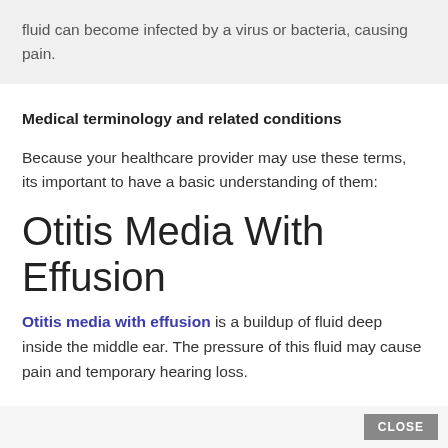fluid can become infected by a virus or bacteria, causing pain.
Medical terminology and related conditions
Because your healthcare provider may use these terms, its important to have a basic understanding of them:
Otitis Media With Effusion
Otitis media with effusion is a buildup of fluid deep inside the middle ear. The pressure of this fluid may cause pain and temporary hearing loss.